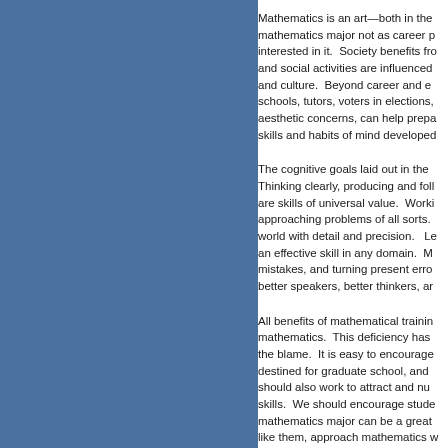Mathematics is an art—both in the mathematics major not as career p interested in it. Society benefits fro and social activities are influenced and culture. Beyond career and e schools, tutors, voters in elections, aesthetic concerns, can help prepa skills and habits of mind developed
The cognitive goals laid out in the Thinking clearly, producing and foll are skills of universal value. Worki approaching problems of all sorts. world with detail and precision. Le an effective skill in any domain. M mistakes, and turning present erro better speakers, better thinkers, ar
All benefits of mathematical trainin mathematics. This deficiency has the blame. It is easy to encourage destined for graduate school, and should also work to attract and nu skills. We should encourage stude mathematics major can be a great like them, approach mathematics w